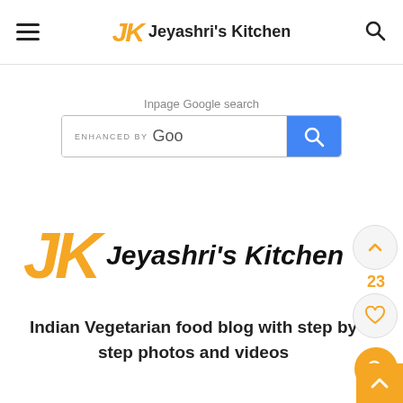Jeyashri's Kitchen
Inpage Google search
[Figure (screenshot): Search box with 'enhanced by Goo' placeholder text and blue search button]
[Figure (logo): Jeyashri's Kitchen logo with orange JK monogram and bold italic text]
Indian Vegetarian food blog with step by step photos and videos